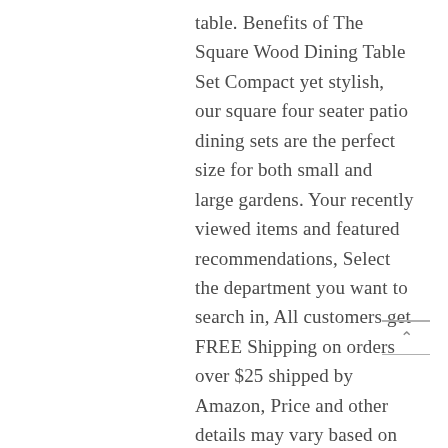table. Benefits of The Square Wood Dining Table Set Compact yet stylish, our square four seater patio dining sets are the perfect size for both small and large gardens. Your recently viewed items and featured recommendations, Select the department you want to search in, All customers get FREE Shipping on orders over $25 shipped by Amazon, Price and other details may vary based on size and color. This 9 Piece Dining Set sterling 8 seater